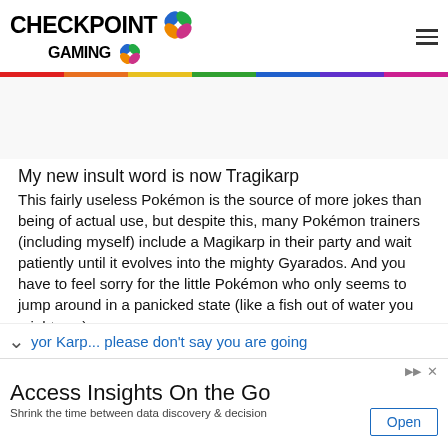CHECKPOINT GAMING
My new insult word is now Tragikarp
This fairly useless Pokémon is the source of more jokes than being of actual use, but despite this, many Pokémon trainers (including myself) include a Magikarp in their party and wait patiently until it evolves into the mighty Gyarados.  And you have to feel sorry for the little Pokémon who only seems to jump around in a panicked state (like a fish out of water you might say).
yor Karp... please don't say you are going
Access Insights On the Go
Shrink the time between data discovery & decision